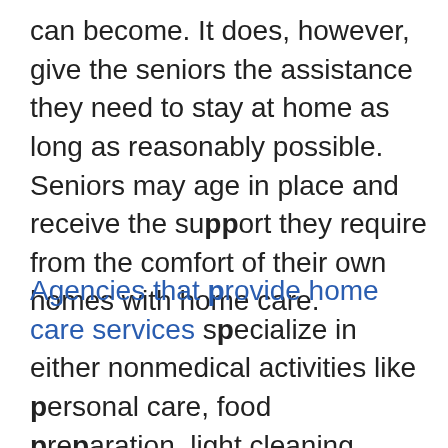can become. It does, however, give the seniors the assistance they need to stay at home as long as reasonably possible. Seniors may age in place and receive the support they require from the comfort of their own homes with home care.
Agencies that provide home care services specialize in either nonmedical activities like personal care, food preparation, light cleaning responsibilities, or medical tasks like